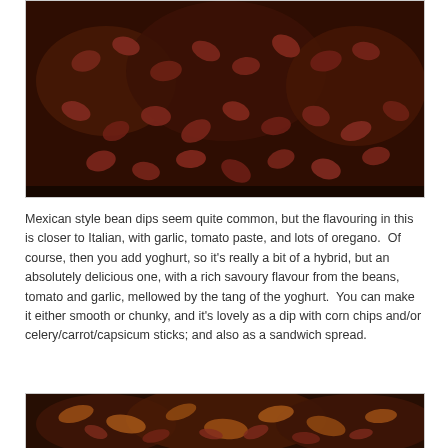[Figure (photo): Close-up photo of kidney beans and other ingredients cooking in a dark cast iron pan, showing a bean dip mixture with rich red-brown color.]
Mexican style bean dips seem quite common, but the flavouring in this is closer to Italian, with garlic, tomato paste, and lots of oregano.  Of course, then you add yoghurt, so it's really a bit of a hybrid, but an absolutely delicious one, with a rich savoury flavour from the beans, tomato and garlic, mellowed by the tang of the yoghurt.  You can make it either smooth or chunky, and it's lovely as a dip with corn chips and/or celery/carrot/capsicum sticks; and also as a sandwich spread.
[Figure (photo): Another close-up photo of the bean dip in a dark cast iron pan, showing a chunky mixture with a more processed/mashed texture.]